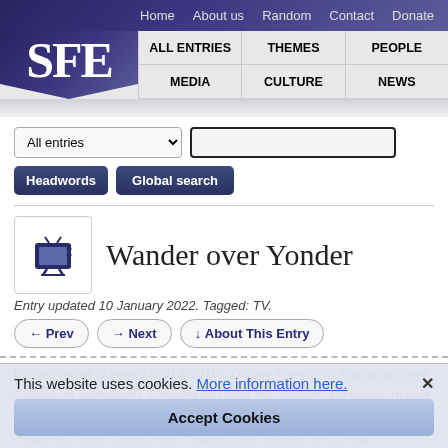Home  About us  Random  Contact  Donate
[Figure (logo): SFE logo with dark purple background and white serif text 'SFE']
ALL ENTRIES  THEMES  PEOPLE  MEDIA  CULTURE  NEWS
All entries [dropdown] [search input] Headwords
Global search
Wander over Yonder
Entry updated 10 January 2022. Tagged: TV.
← Prev  → Next  ↓ About This Entry
US animated tv series (2013-2016). Disney Television Animation (see Disney on Television). Created by Craig McCracken. Directors include Dave Thomas and Eddie Trigueros. Writers include Francisco Angones, Robin Budd, Amy Higgins, Ben Joseph and Craig McCracken. Voice cast includes Jack McBrayer, Keith Ferguson, Tom Kenny, Noël Wells and April Winchell. 43 22-minute episodes (... ants) and
This website uses cookies. More information here.
Accept Cookies